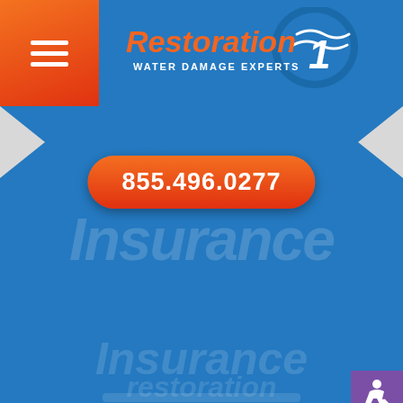[Figure (logo): Restoration 1 Water Damage Experts logo with blue circular wave graphic]
855.496.0277
[Figure (infographic): Blue mobile website screenshot with insurance services menu items faded in background, accessibility icon in bottom right]